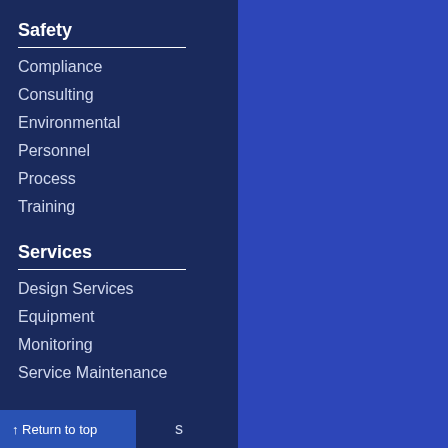Safety
Compliance
Consulting
Environmental
Personnel
Process
Training
Services
Design Services
Equipment
Monitoring
Service Maintenance
↑ Return to top